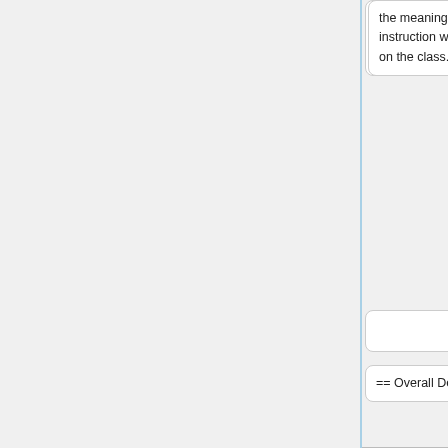the meaning of rest of the instruction word depends on the class.
the meaning of rest of the instruction word depends on the class.
The instruction design is therefore crucial for code density, which [http://deater.net/weave/vmwprod/asm/ll/ll.html varies a lot].
== Overall Design ==
== Overall Design ==